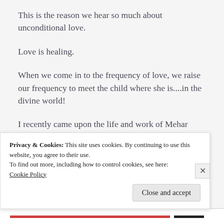This is the reason we hear so much about unconditional love.
Love is healing.
When we come in to the frequency of love, we raise our frequency to meet the child where she is....in the divine world!
I recently came upon the life and work of Mehar baba who is said to be the Avatar of our times. He was an Avatar, a God realized Master who stopped
Privacy & Cookies: This site uses cookies. By continuing to use this website, you agree to their use.
To find out more, including how to control cookies, see here: Cookie Policy
Close and accept